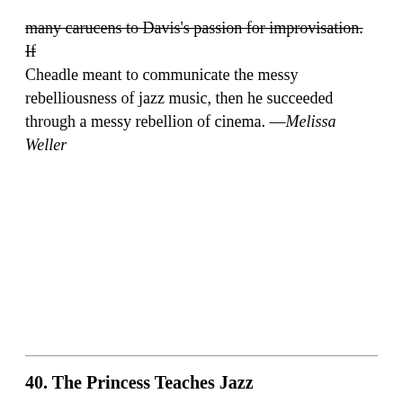many carucens to Davis's passion for improvisation. If Cheadle meant to communicate the messy rebelliousness of jazz music, then he succeeded through a messy rebellion of cinema. —Melissa Weller
40. The Princess Teaches Jazz